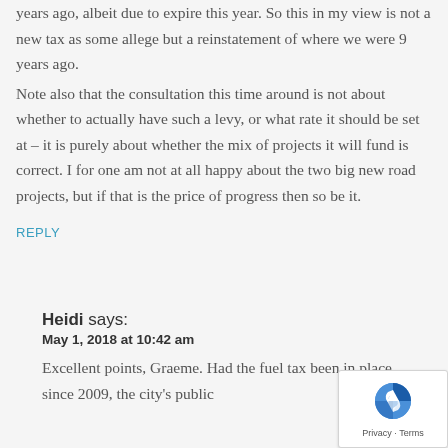years ago, albeit due to expire this year. So this in my view is not a new tax as some allege but a reinstatement of where we were 9 years ago.
Note also that the consultation this time around is not about whether to actually have such a levy, or what rate it should be set at – it is purely about whether the mix of projects it will fund is correct. I for one am not at all happy about the two big new road projects, but if that is the price of progress then so be it.
REPLY
Heidi says:
May 1, 2018 at 10:42 am
Excellent points, Graeme. Had the fuel tax been in place since 2009, the city's public